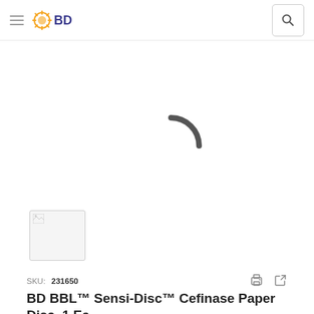BD
[Figure (screenshot): Loading spinner (arc) indicating product image is loading, with a small product thumbnail in lower left]
SKU: 231650
BD BBL™ Sensi-Disc™ Cefinase Paper Disc, 1 Ea